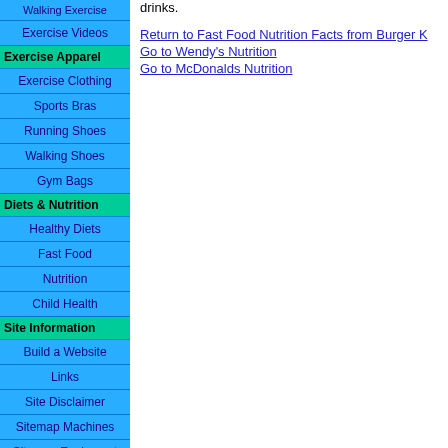Walking Exercise
Exercise Videos
Exercise Apparel
Exercise Clothing
Sports Bras
Running Shoes
Walking Shoes
Gym Bags
Diets & Nutrition
Healthy Diets
Fast Food
Nutrition
Child Health
Site Information
Build a Website
Links
Site Disclaimer
Sitemap Machines
Sitemap Equipment
drinks.
Return to Fast Food Nutrition Facts from Burger K
Go to Wendy's Nutrition
Go to McDonalds Nutrition